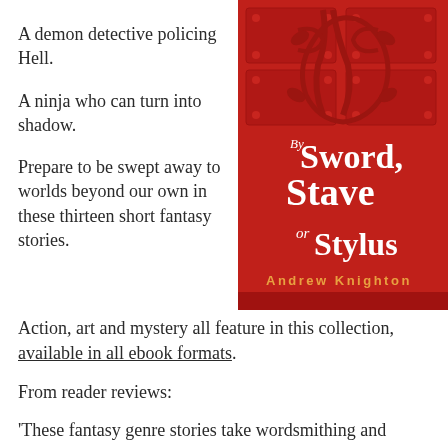A demon detective policing Hell.
A ninja who can turn into shadow.
Prepare to be swept away to worlds beyond our own in these thirteen short fantasy stories.
[Figure (illustration): Book cover for 'By Sword, Stave or Stylus' by Andrew Knighton. Red background with ornate red metalwork. Title in white decorative font, author name in orange at bottom.]
Action, art and mystery all feature in this collection, available in all ebook formats.
From reader reviews:
‘These fantasy genre stories take wordsmithing and storytelling to a whole’